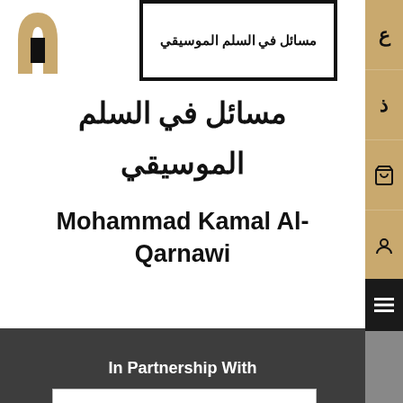[Figure (illustration): Book cover thumbnail with Arabic text in a black-bordered frame, with a logo on the left]
مسائل في السلم الموسيقي
Mohammad Kamal Al-Qarnawi
In Partnership With